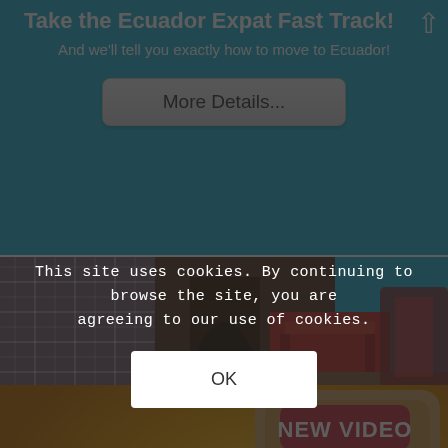Take the Ecuador Expat Fast Track!
And we'll tell you exactly how to move to Ecuador!
More Details...
[Figure (photo): Market photo strip showing clothing and wooden furniture on a teal background]
[Figure (photo): Thermometer image with 'TIRED OF THE HEAT?' text and 'NEW VIDEO' badge, showing Celsius and Fahrenheit scales. Also shows 'ESCAPE' and 'Today @ 3P' text at bottom.]
This site uses cookies. By continuing to browse the site, you are agreeing to our use of cookies.
OK